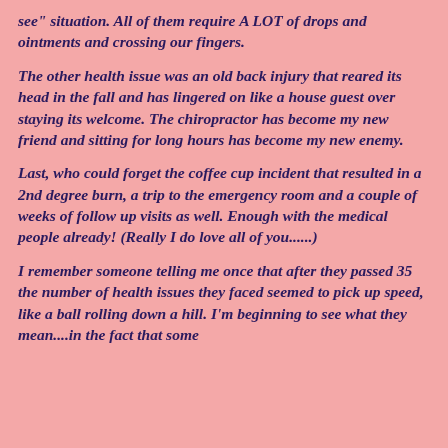see" situation. All of them require A LOT of drops and ointments and crossing our fingers.
The other health issue was an old back injury that reared its head in the fall and has lingered on like a house guest over staying its welcome. The chiropractor has become my new friend and sitting for long hours has become my new enemy.
Last, who could forget the coffee cup incident that resulted in a 2nd degree burn, a trip to the emergency room and a couple of weeks of follow up visits as well. Enough with the medical people already! (Really I do love all of you......)
I remember someone telling me once that after they passed 35 the number of health issues they faced seemed to pick up speed, like a ball rolling down a hill. I'm beginning to see what they mean....in the fact that some